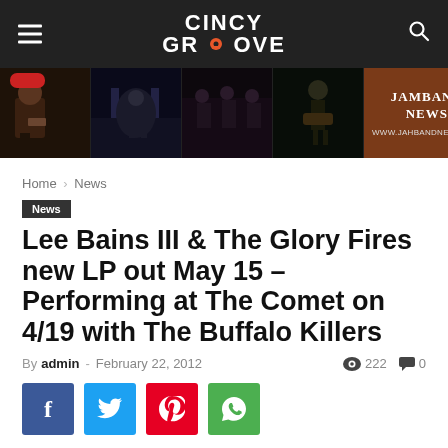CINCY GROOVE
[Figure (photo): Banner with concert photos and Jamband News advertisement]
Home › News
News
Lee Bains III & The Glory Fires new LP out May 15 – Performing at The Comet on 4/19 with The Buffalo Killers
By admin - February 22, 2012  👁 222  💬 0
[Figure (infographic): Social media share buttons: Facebook, Twitter, Pinterest, WhatsApp]